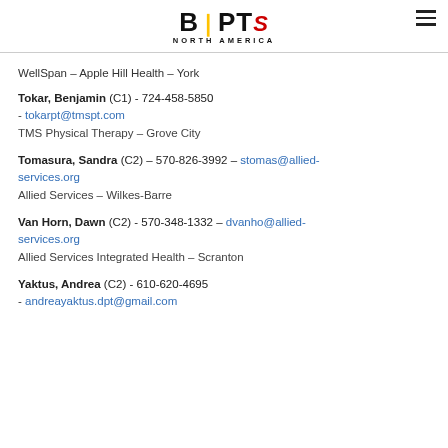BSPTS NORTH AMERICA
WellSpan – Apple Hill Health – York
Tokar, Benjamin (C1) - 724-458-5850 - tokarpt@tmspt.com
TMS Physical Therapy – Grove City
Tomasura, Sandra (C2) – 570-826-3992 – stomas@allied-services.org
Allied Services – Wilkes-Barre
Van Horn, Dawn (C2) - 570-348-1332 – dvanho@allied-services.org
Allied Services Integrated Health – Scranton
Yaktus, Andrea (C2) - 610-620-4695 - andreayaktus.dpt@gmail.com